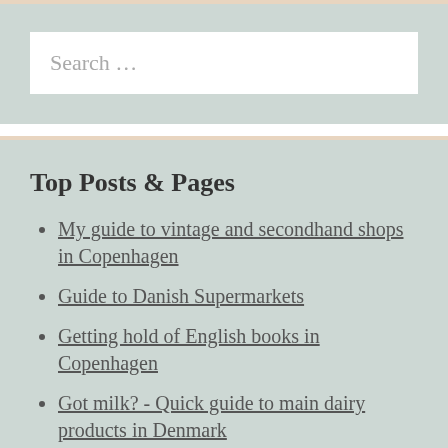[Figure (other): Search input widget with light teal background and a white search text field containing placeholder text 'Search ...']
Top Posts & Pages
My guide to vintage and secondhand shops in Copenhagen
Guide to Danish Supermarkets
Getting hold of English books in Copenhagen
Got milk? - Quick guide to main dairy products in Denmark
Guide to using the post in Denmark